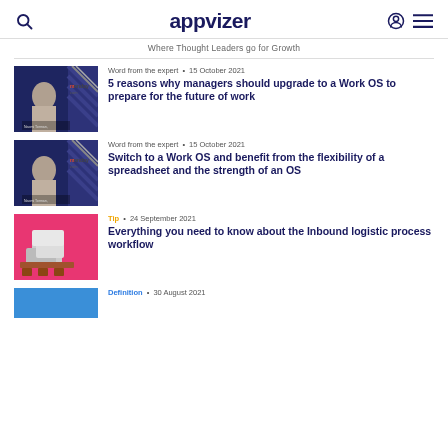appvizer — Where Thought Leaders go for Growth
Word from the expert • 15 October 2021
5 reasons why managers should upgrade to a Work OS to prepare for the future of work
Word from the expert • 15 October 2021
Switch to a Work OS and benefit from the flexibility of a spreadsheet and the strength of an OS
Tip • 24 September 2021
Everything you need to know about the Inbound logistic process workflow
Definition • 30 August 2021